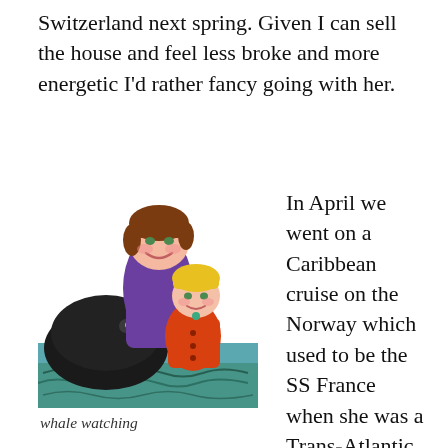Switzerland next spring. Given I can sell the house and feel less broke and more energetic I'd rather fancy going with her.
[Figure (illustration): Child's watercolor painting showing two figures — one taller with brown hair wearing a purple top, and a shorter blonde figure in an orange top — alongside a large black shape resembling a whale, with blue-green water at the bottom.]
whale watching
In April we went on a Caribbean cruise on the Norway which used to be the SS France when she was a Trans-Atlantic liner. It was a wonderful holiday with great weather and very relaxing.